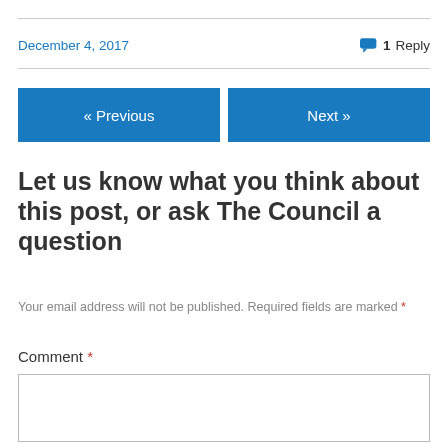December 4, 2017
1 Reply
« Previous
Next »
Let us know what you think about this post, or ask The Council a question
Your email address will not be published. Required fields are marked *
Comment *